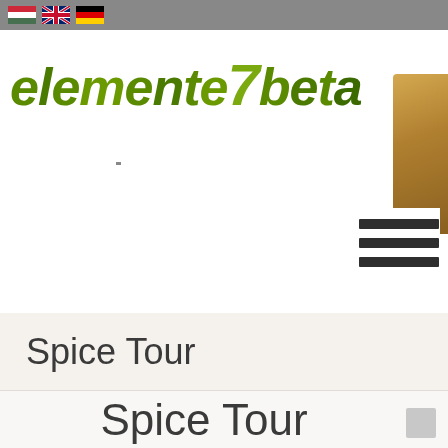[Figure (screenshot): Navigation bar with Hungarian, British, and German flag icons on a gray background]
[Figure (logo): Stylized green 3D text logo for a tourism website with the number 7, cropped at right edge]
[Figure (illustration): Partial decorative image on the right side, appearing to show a spice or instrument]
[Figure (other): Hamburger menu icon with three horizontal dark bars]
Spice Tour
Spice Tour